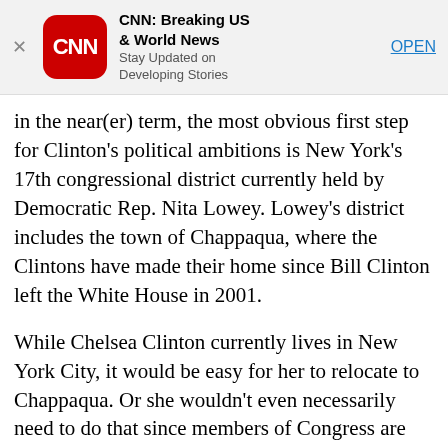[Figure (other): CNN Breaking News app advertisement banner with CNN logo, title 'CNN: Breaking US & World News', subtitle 'Stay Updated on Developing Stories', and OPEN button]
in the near(er) term, the most obvious first step for Clinton's political ambitions is New York's 17th congressional district currently held by Democratic Rep. Nita Lowey. Lowey's district includes the town of Chappaqua, where the Clintons have made their home since Bill Clinton left the White House in 2001.
While Chelsea Clinton currently lives in New York City, it would be easy for her to relocate to Chappaqua. Or she wouldn't even necessarily need to do that since members of Congress are not required to live in the district they represent.
Lowey has held the strongly Democratic seat since 1988. She'll turn 80 this summer. And she is a loyal ally of the Clintons (to say the very least).